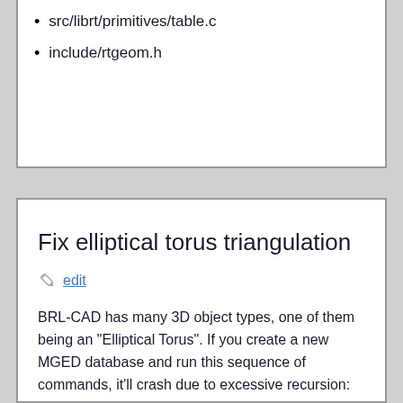src/librt/primitives/table.c
include/rtgeom.h
Fix elliptical torus triangulation
edit
BRL-CAD has many 3D object types, one of them being an "Elliptical Torus". If you create a new MGED database and run this sequence of commands, it'll crash due to excessive recursion: